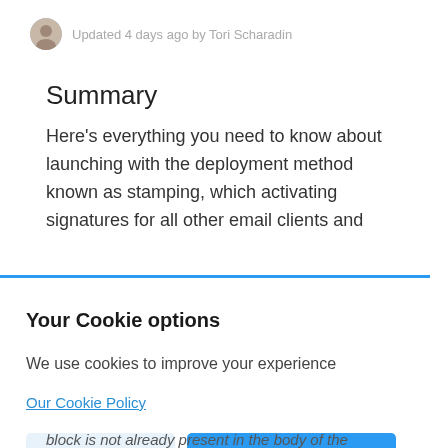Updated 4 days ago by Tori Scharadin
Summary
Here's everything you need to know about launching with the deployment method known as stamping, which activating signatures for all other email clients and
Your Cookie options
We use cookies to improve your experience
Our Cookie Policy
Decline
Allow cookies
block is not already present in the body of the